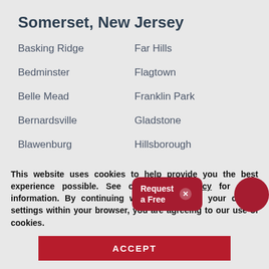Somerset, New Jersey
Basking Ridge
Far Hills
Bedminster
Flagtown
Belle Mead
Franklin Park
Bernardsville
Gladstone
Blawenburg
Hillsborough
Bound Brook
Liberty Corner
Bridgewater
Lyons
Dunellen
Manville
Martinsville
Som...
This website uses cookies to help provide you the best experience possible. See our Privacy Policy for more information. By continuing without changing your cookie settings within your browser, you are agreeing to our use of cookies.
ACCEPT